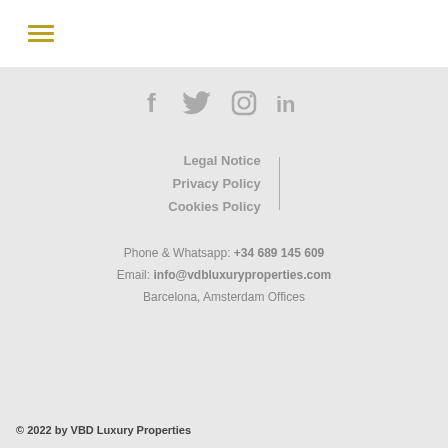[Figure (other): Hamburger menu icon with three horizontal gold/olive colored lines]
[Figure (other): Social media icons row: Facebook (f), Twitter (bird), Instagram (camera), LinkedIn (in), all in gray]
Legal Notice
Privacy Policy
Cookies Policy
Phone & Whatsapp: +34 689 145 609
Email: info@vdbluxuryproperties.com
Barcelona, Amsterdam Offices
© 2022 by VBD Luxury Properties